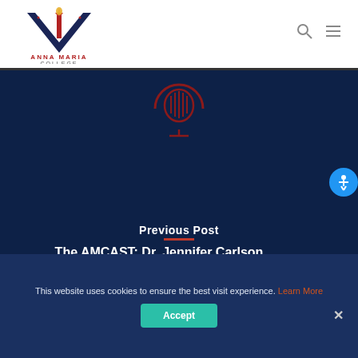[Figure (logo): Anna Maria College logo with torch and V-shape design, red and navy blue, with text ANNA MARIA COLLEGE below]
[Figure (illustration): Circular podcast microphone icon in dark red on dark navy background]
Previous Post
The AMCAST: Dr. Jennifer Carlson
AMCAST
A PODCAST BY
ANNA MARIA COLLEGE
[Figure (illustration): Flame/torch icon with LUX ET VERITAS text below]
This website uses cookies to ensure the best visit experience. Learn More
Accept